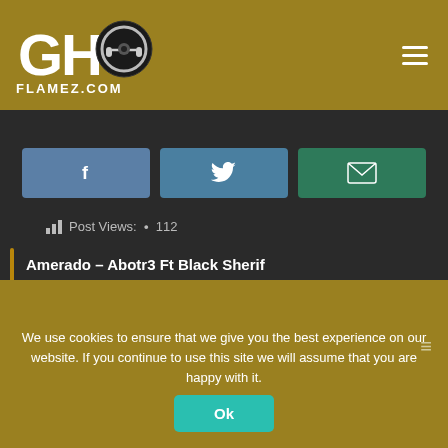GHFlAmez.com
[Figure (logo): GHFlamez.com logo - stylized GH letters with headphones icon, text GHFLAMEZ.COM below]
[Figure (infographic): Social share buttons: Facebook (blue), Twitter (teal-blue), Email (green)]
Post Views: • 112
Amerado – Abotr3 Ft Black Sherif
Adi Ruler – Tell'em (Remix) ft Longation & Deadpeepol
We use cookies to ensure that we give you the best experience on our website. If you continue to use this site we will assume that you are happy with it.